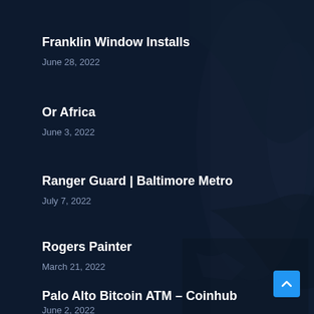Franklin Window Installs
June 28, 2022
Or Africa
June 3, 2022
Ranger Guard | Baltimore Metro
July 7, 2022
Rogers Painter
March 21, 2022
Palo Alto Bitcoin ATM – Coinhub
June 2, 2022